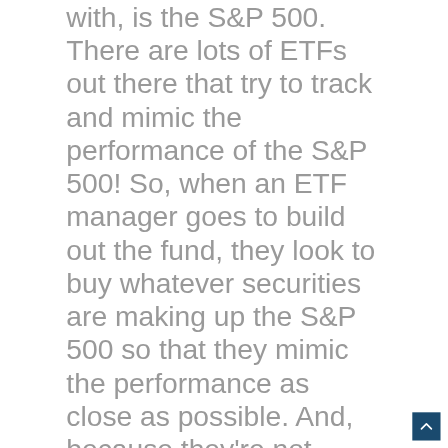with, is the S&P 500. There are lots of ETFs out there that try to track and mimic the performance of the S&P 500! So, when an ETF manager goes to build out the fund, they look to buy whatever securities are making up the S&P 500 so that they mimic the performance as close as possible. And, because they're not trying to outperform the index, they're not trying to pick and choose securities that they think are going to beat the market in certain times. Instead, they are just buying and holding those securities and in turn, making the internal cost (the cost to you) a